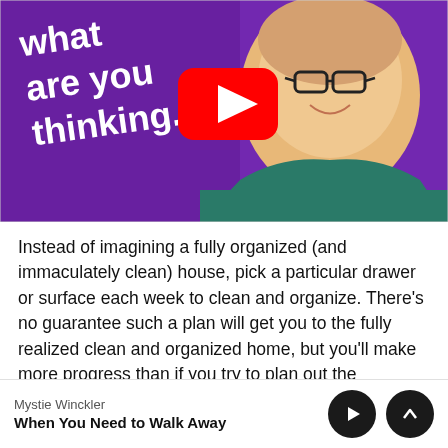[Figure (screenshot): YouTube video thumbnail showing a woman with glasses and a shaved head wearing a teal top, on a purple background with white italic text reading 'what are you thinking.' and a YouTube play button overlay.]
Instead of imagining a fully organized (and immaculately clean) house, pick a particular drawer or surface each week to clean and organize. There's no guarantee such a plan will get you to the fully realized clean and organized home, but you'll make more progress than if you try to plan out the complete system on paper.
Mystie Winckler
When You Need to Walk Away